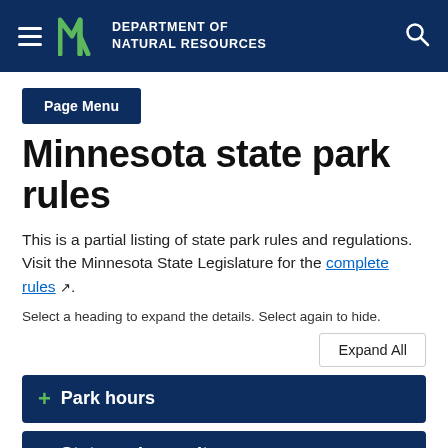Department of Natural Resources
Page Menu
Minnesota state park rules
This is a partial listing of state park rules and regulations. Visit the Minnesota State Legislature for the complete rules.
Select a heading to expand the details. Select again to hide.
Expand All
Park hours
State park permit
Accessibility